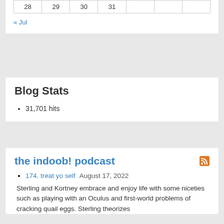| 28 | 29 | 30 | 31 |  |  |  |
« Jul
Blog Stats
31,701 hits
the indoob! podcast
174. treat yo self   August 17, 2022
Sterling and Kortney embrace and enjoy life with some niceties such as playing with an Oculus and first-world problems of cracking quail eggs. Sterling theorizes